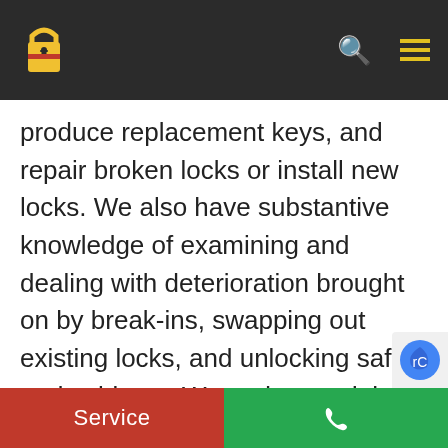[Navigation bar with lock logo, search icon, and menu icon]
produce replacement keys, and repair broken locks or install new locks. We also have substantive knowledge of examining and dealing with deterioration brought on by break-ins, swapping out existing locks, and unlocking safes and cabinets. We understand that your house is one of your biggest investments and you should feel safe and secure. Our 24/7 locksmith service professionals are experienced in restoring and installing
Service | [phone icon]